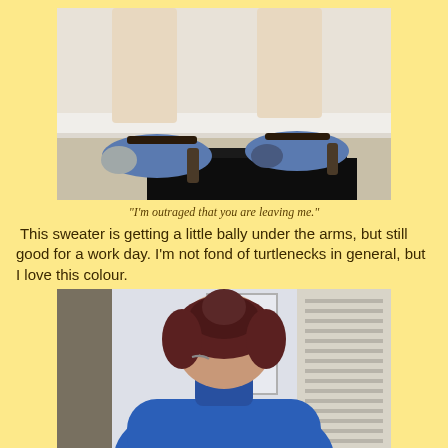[Figure (photo): Close-up photo of a person's legs and feet wearing blue open-toe heeled shoes with ankle straps, standing near a white baseboard. A black object (possibly a cat or bag) is partially visible.]
"I'm outraged that you are leaving me."
This sweater is getting a little bally under the arms, but still good for a work day. I'm not fond of turtlenecks in general, but I love this colour.
[Figure (photo): Photo of the back of a person with dark reddish hair in a bun, wearing a blue turtleneck sweater, standing near a window with blinds visible on the right.]